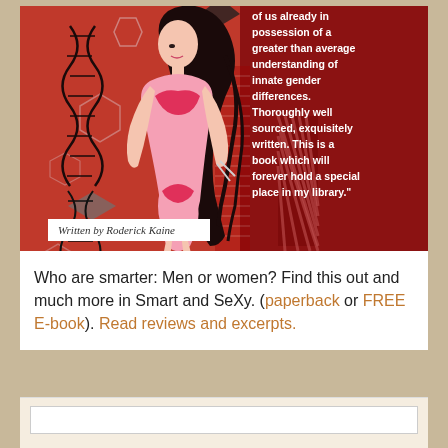[Figure (illustration): Book cover illustration on red background showing a stylized woman in a pink bikini with DNA helices, geometric hexagon shapes, and scientific motifs. Text on darker red right panel reads a review quote. 'Written by Roderick Kaine' label at bottom left of cover.]
Who are smarter: Men or women? Find this out and much more in Smart and SeXy. (paperback or FREE E-book). Read reviews and excerpts.